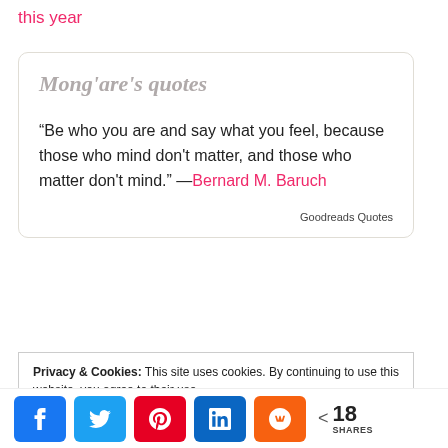this year
Mong'are's quotes
“Be who you are and say what you feel, because those who mind don't matter, and those who matter don't mind.” —Bernard M. Baruch
Goodreads Quotes
Privacy & Cookies: This site uses cookies. By continuing to use this website, you agree to their use. To find out more, including how to control cookies, see here: Cookie Policy
< 18 SHARES